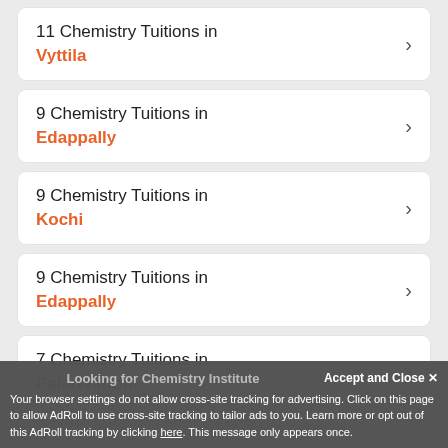11 Chemistry Tuitions in Vyttila
9 Chemistry Tuitions in Edappally
9 Chemistry Tuitions in Kochi
9 Chemistry Tuitions in Edappally
7 Chemistry Tuitions in Palarivattom
Looking for Chemistry Institute
Accept and Close ✕
Your browser settings do not allow cross-site tracking for advertising. Click on this page to allow AdRoll to use cross-site tracking to tailor ads to you. Learn more or opt out of this AdRoll tracking by clicking here. This message only appears once.